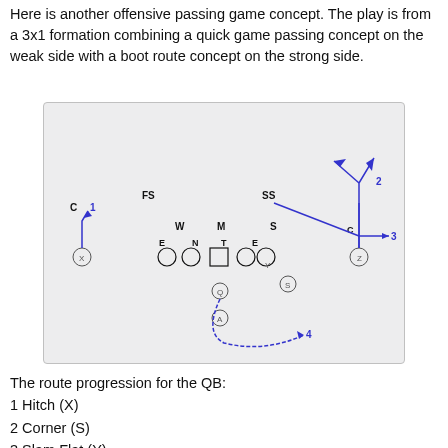Here is another offensive passing game concept. The play is from a 3x1 formation combining a quick game passing concept on the weak side with a boot route concept on the strong side.
[Figure (schematic): Football play diagram showing a 3x1 offensive formation. Defensive players labeled C, FS, SS, W, M, S, E, N, T, E are shown. Offensive players X, Q, A, Y, Z are shown. Blue route lines show: player 1 (X) on far left runs a short hitch route up then back; player 2 (S/Z) on far right runs a deep corner route going up then diagonal upper-right with arrow; player 3 (C/Z) on right side runs a flat route with arrow pointing right; player 4 (boot route) arcs from behind QB to the right with dashed arrow. QB drops back with arc.]
The route progression for the QB:
1 Hitch (X)
2 Corner (S)
3 Slam Flat (Y)
4 Run